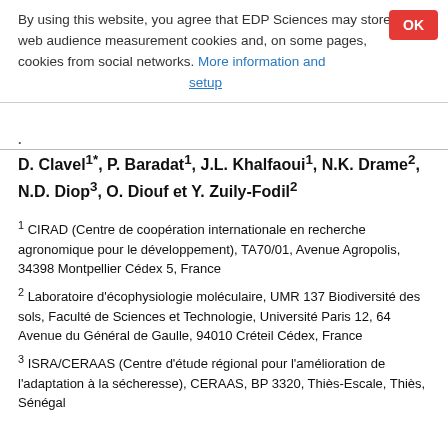By using this website, you agree that EDP Sciences may store web audience measurement cookies and, on some pages, cookies from social networks. More information and setup
D. Clavel1*, P. Baradat1, J.L. Khalfaoui1, N.K. Drame2, N.D. Diop3, O. Diouf et Y. Zuily-Fodil2
1 CIRAD (Centre de coopération internationale en recherche agronomique pour le développement), TA70/01, Avenue Agropolis, 34398 Montpellier Cédex 5, France
2 Laboratoire d'écophysiologie moléculaire, UMR 137 Biodiversité des sols, Faculté de Sciences et Technologie, Université Paris 12, 64 Avenue du Général de Gaulle, 94010 Créteil Cédex, France
3 ISRA/CERAAS (Centre d'étude régional pour l'amélioration de l'adaptation à la sécheresse), CERAAS, BP 3320, Thiès-Escale, Thiès, Sénégal